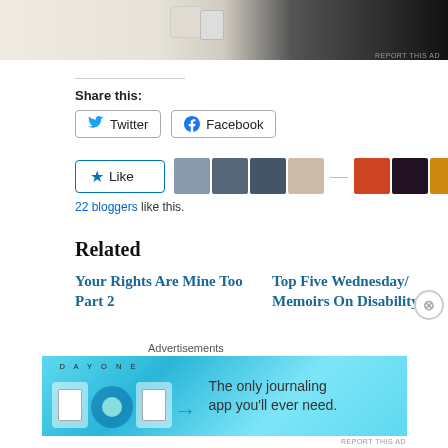[Figure (screenshot): Top advertisement image showing a beige/cream background with icons and a dark panel on the right]
REPORT THIS AD
Share this:
[Figure (screenshot): Twitter share button with bird icon]
[Figure (screenshot): Facebook share button with Facebook icon]
[Figure (screenshot): Like button with star icon and row of blogger avatar thumbnails]
22 bloggers like this.
Related
Your Rights Are Mine Too Part 2
Top Five Wednesday/ Memoirs On Disability
[Figure (screenshot): Bottom advertisement for Day One journaling app with light blue background]
REPORT THIS AD